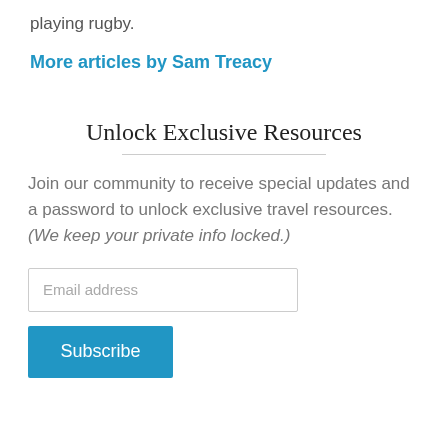playing rugby.
More articles by Sam Treacy
Unlock Exclusive Resources
Join our community to receive special updates and a password to unlock exclusive travel resources.  (We keep your private info locked.)